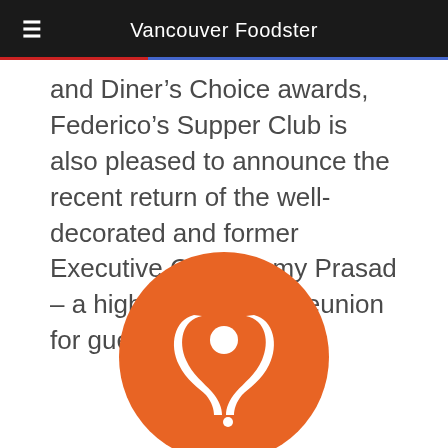Vancouver Foodster
and Diner’s Choice awards, Federico’s Supper Club is also pleased to announce the recent return of the well-decorated and former Executive Chef, Romy Prasad – a highly celebrated reunion for guests and staff.
[Figure (logo): Orange circular logo with a stylized white fork and spoon icon]